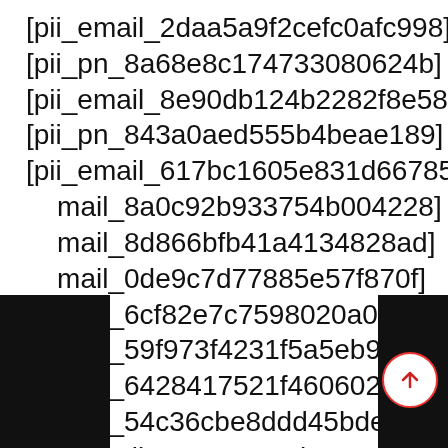[pii_email_2daa5a9f2cefc0afc998]
[pii_pn_8a68e8c174733080624b]
[pii_email_8e90db124b2282f8e586]
[pii_pn_843a0aed555b4beae189]
[pii_email_617bc1605e831d66785f]
[pii_email_8a0c92b933754b004228]
[pii_email_8d866bfb41a4134828ad]
[pii_email_0de9c7d77885e57f870f]
[pii_email_6cf82e7c7598020a096c]
[pii_email_59f973f4231f5a5eb99f]
[pii_email_6428417521f460602588]
[pii_email_54c36cbe8ddd45bdefae]
[pii_email_53040687ab54a844cba0]
[pii_email_a1dc8e9d2a4dbc820d2a]
[pii_email_a0b04901a1f52de5a391]
[pii_pn_e878159c795f2f2800fb]
[pii_pn_d396820cee53648aa76a]
[pii_email_f744b2ee828b2f819cbd]